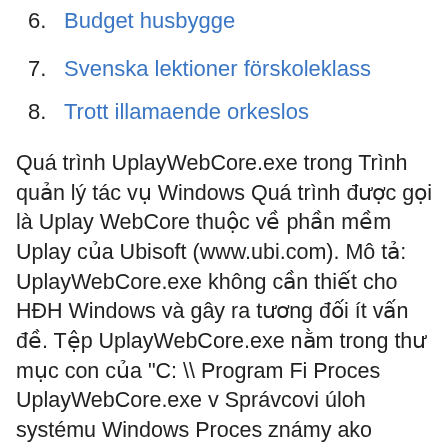6. Budget husbygge
7. Svenska lektioner förskoleklass
8. Trott illamaende orkeslos
Quá trình UplayWebCore.exe trong Trình quản lý tác vụ Windows Quá trình được gọi là Uplay WebCore thuộc về phần mềm Uplay của Ubisoft (www.ubi.com). Mô tả: UplayWebCore.exe không cần thiết cho HĐH Windows và gây ra tương đối ít vấn đề. Tệp UplayWebCore.exe nằm trong thư mục con của "C: \ Program Fi Proces UplayWebCore.exe v Správcovi úloh systému Windows Proces známy ako Uplay WebCore patrí k softvéru Uplay od Ubisoft (www.ubi.com). Opis: UplayWebCore.exe nie je nevyhnutný pre operačný systém Windows a spôsobuje relatívne málo